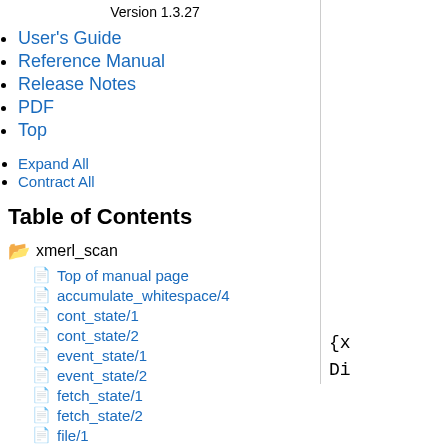Version 1.3.27
User's Guide
Reference Manual
Release Notes
PDF
Top
Expand All
Contract All
Table of Contents
xmerl_scan
Top of manual page
accumulate_whitespace/4
cont_state/1
cont_state/2
event_state/1
event_state/2
fetch_state/1
fetch_state/2
file/1